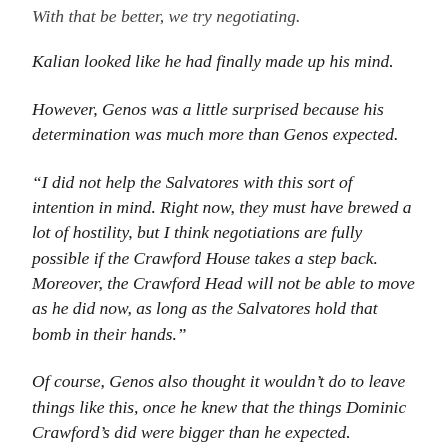With that be better, we try negotiating.
Kalian looked like he had finally made up his mind.
However, Genos was a little surprised because his determination was much more than Genos expected.
“I did not help the Salvatores with this sort of intention in mind. Right now, they must have brewed a lot of hostility, but I think negotiations are fully possible if the Crawford House takes a step back. Moreover, the Crawford Head will not be able to move as he did now, as long as the Salvatores hold that bomb in their hands.”
Of course, Genos also thought it wouldn’t do to leave things like this, once he knew that the things Dominic Crawford’s did were bigger than he expected. However, that did not mean he wanted to jeopardize his friend, Kalian’s position.